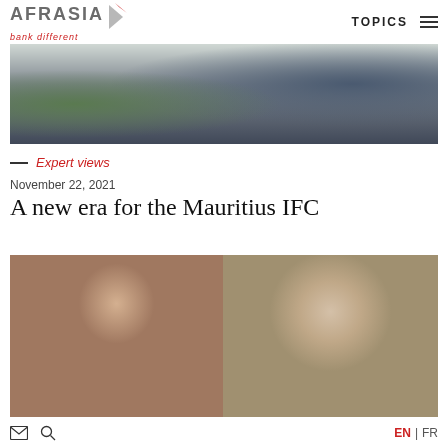AFRASIA bank different | TOPICS
[Figure (photo): Top cropped photo showing hands and partial view of a person in a suit at a desk with a plant visible]
— Expert views
November 22, 2021
A new era for the Mauritius IFC
[Figure (photo): Two side-by-side portrait photos: left shows a woman with dark hair in a black blazer and red top; right shows a blonde woman with long hair against a decorative background]
EN | FR